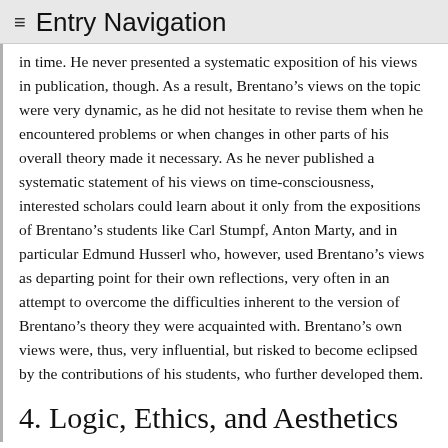≡ Entry Navigation
in time. He never presented a systematic exposition of his views in publication, though. As a result, Brentano's views on the topic were very dynamic, as he did not hesitate to revise them when he encountered problems or when changes in other parts of his overall theory made it necessary. As he never published a systematic statement of his views on time-consciousness, interested scholars could learn about it only from the expositions of Brentano's students like Carl Stumpf, Anton Marty, and in particular Edmund Husserl who, however, used Brentano's views as departing point for their own reflections, very often in an attempt to overcome the difficulties inherent to the version of Brentano's theory they were acquainted with. Brentano's own views were, thus, very influential, but risked to become eclipsed by the contributions of his students, who further developed them.
4. Logic, Ethics, and Aesthetics